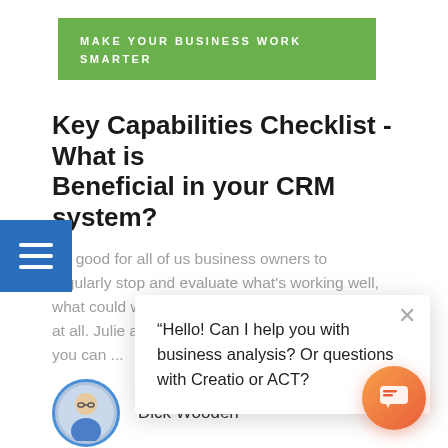MAKE YOUR BUSINESS WORK SMARTER
Key Capabilities Checklist - What is Beneficial in your CRM system?
It's good for all of us business owners to regularly stop and evaluate what's working well, what could work better, and what isn't working at all. Julie and I share this checklist as a tool you can ...
Dick Wooden
27 Min Read
“Hello! Can I help you with business analysis? Or questions with Creatio or ACT?